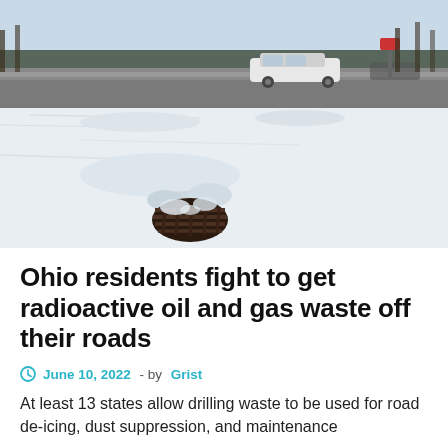[Figure (photo): Winter road scene with a white car passing on a road covered in snow. In the foreground, a sewer drain or grate is visible partially covered in snow, surrounded by snowy ground. Bare trees are visible in the background.]
Ohio residents fight to get radioactive oil and gas waste off their roads
June 10, 2022 - by Grist
At least 13 states allow drilling waste to be used for road de-icing, dust suppression, and maintenance